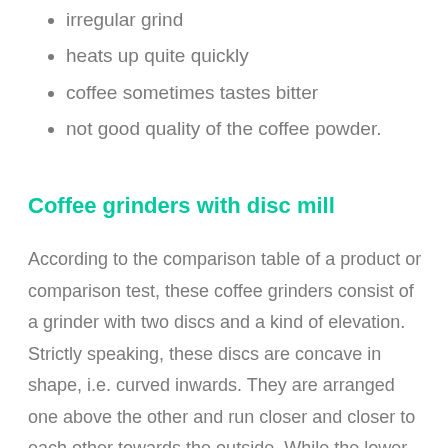irregular grind
heats up quite quickly
coffee sometimes tastes bitter
not good quality of the coffee powder.
Coffee grinders with disc mill
According to the comparison table of a product or comparison test, these coffee grinders consist of a grinder with two discs and a kind of elevation. Strictly speaking, these discs are concave in shape, i.e. curved inwards. They are arranged one above the other and run closer and closer to each other towards the outside. While the lower disc is fixed and does not move, the upper one rotates.